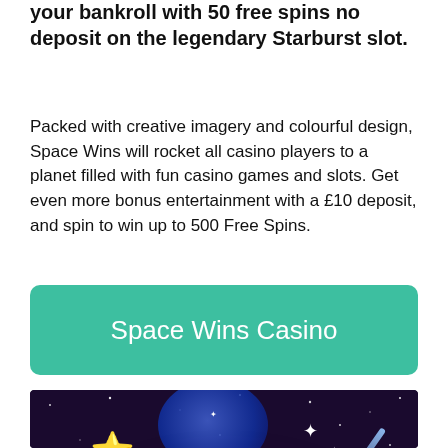your bankroll with 50 free spins no deposit on the legendary Starburst slot.
Packed with creative imagery and colourful design, Space Wins will rocket all casino players to a planet filled with fun casino games and slots. Get even more bonus entertainment with a £10 deposit, and spin to win up to 500 Free Spins.
[Figure (other): Teal/green rounded rectangle button with white text reading 'Space Wins Casino']
[Figure (illustration): Space Wins Casino promotional image featuring a dark space background with a large glowing magenta/purple planet, a red planet on the left, a blue orb at the top, a gold star, sparkle effects, a light beam, and bold 'SPACE WINS' text on the planet.]